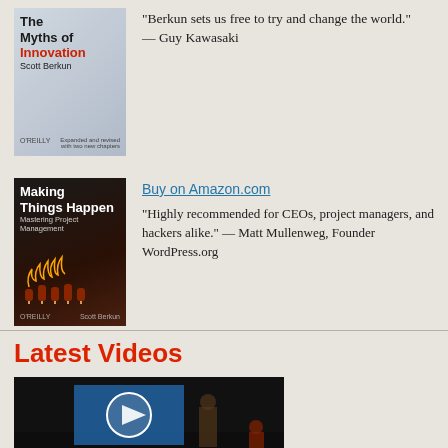[Figure (illustration): Book cover: The Myths of Innovation by Scott Berkun, O'Reilly, expanded and revised with two new chapters]
“Berkun sets us free to try and change the world.” — Guy Kawasaki
[Figure (illustration): Book cover: Making Things Happen by Scott Berkun, Mastering Project Management, O'Reilly]
Buy on Amazon.com
“Highly recommended for CEOs, project managers, and hackers alike.” — Matt Mullenweg, Founder WordPress.org
Latest Videos
[Figure (screenshot): Video thumbnail showing a dark presentation scene with a blue projection screen and presenter]